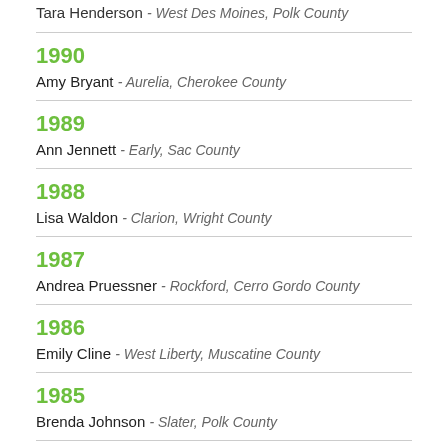Tara Henderson - West Des Moines, Polk County
1990 - Amy Bryant - Aurelia, Cherokee County
1989 - Ann Jennett - Early, Sac County
1988 - Lisa Waldon - Clarion, Wright County
1987 - Andrea Pruessner - Rockford, Cerro Gordo County
1986 - Emily Cline - West Liberty, Muscatine County
1985 - Brenda Johnson - Slater, Polk County
1984